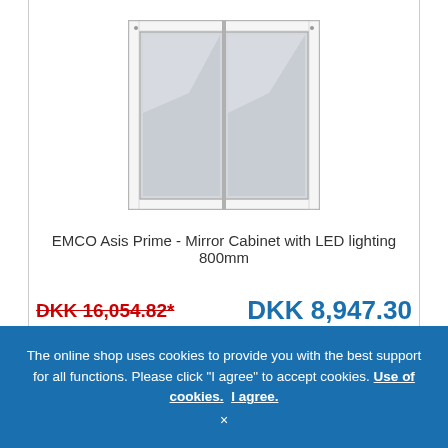[Figure (photo): Mirror cabinet with LED lighting - EMCO Asis Prime, double door mirrored cabinet with illuminated frame, silver/chrome finish, 800mm]
EMCO Asis Prime - Mirror Cabinet with LED lighting 800mm
DKK 16,054.82*
DKK 8,947.30
Delivery time: omkring 2-3 uger
Article no.: 949705162
The online shop uses cookies to provide you with the best support for all functions. Please click "I agree" to accept cookies. Use of cookies. I agree. ×